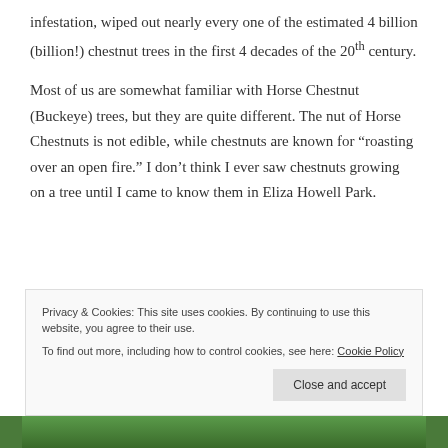infestation, wiped out nearly every one of the estimated 4 billion (billion!) chestnut trees in the first 4 decades of the 20th century.
Most of us are somewhat familiar with Horse Chestnut (Buckeye) trees, but they are quite different. The nut of Horse Chestnuts is not edible, while chestnuts are known for “roasting over an open fire.” I don’t think I ever saw chestnuts growing on a tree until I came to know them in Eliza Howell Park.
Privacy & Cookies: This site uses cookies. By continuing to use this website, you agree to their use.
To find out more, including how to control cookies, see here: Cookie Policy
Close and accept
[Figure (photo): Bottom strip showing green foliage/leaves, partially visible]